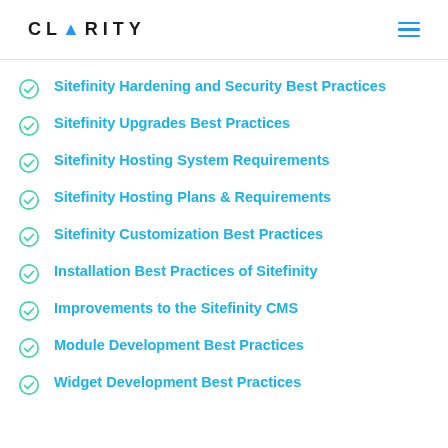CLARITY
Sitefinity Hardening and Security Best Practices
Sitefinity Upgrades Best Practices
Sitefinity Hosting System Requirements
Sitefinity Hosting Plans & Requirements
Sitefinity Customization Best Practices
Installation Best Practices of Sitefinity
Improvements to the Sitefinity CMS
Module Development Best Practices
Widget Development Best Practices